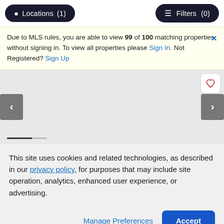Locations (1)   Filters (0)
Due to MLS rules, you are able to view 99 of 100 matching properties without signing in. To view all properties please Sign In. Not Registered? Sign Up
[Figure (screenshot): Map/carousel area with left and right navigation arrows, a heart/save button in top-right, and a progress indicator at bottom-left. Background is light grey representing a map or image carousel.]
This site uses cookies and related technologies, as described in our privacy policy, for purposes that may include site operation, analytics, enhanced user experience, or advertising.
Manage Preferences   Accept